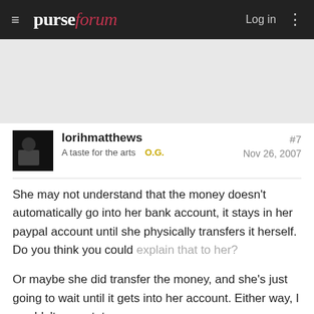purseforum  Log in
[Figure (other): Advertisement/gray placeholder area]
lorihmatthews  #7
A taste for the arts  O.G.  Nov 26, 2007
She may not understand that the money doesn't automatically go into her bank account, it stays in her paypal account until she physically transfers it herself. Do you think you could explain that to her?
Or maybe she did transfer the money, and she's just going to wait until it gets into her account. Either way, I wouldn't worry tot